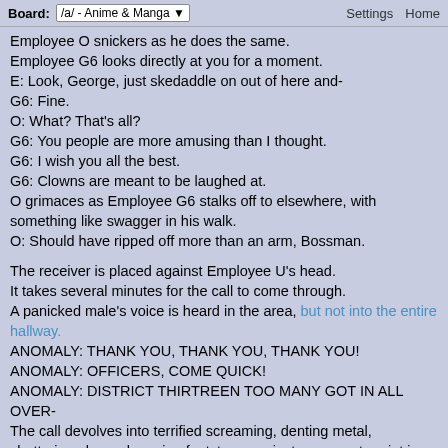Board: /a/ - Anime & Manga   Settings  Home
Employee O snickers as he does the same.
Employee G6 looks directly at you for a moment.
E: Look, George, just skedaddle on out of here and-
G6: Fine.
O: What? That's all?
G6: You people are more amusing than I thought.
G6: I wish you all the best.
G6: Clowns are meant to be laughed at.
O grimaces as Employee G6 stalks off to elsewhere, with something like swagger in his walk.
O: Should have ripped off more than an arm, Bossman.

The receiver is placed against Employee U's head.
It takes several minutes for the call to come through.
A panicked male's voice is heard in the area, but not into the entire hallway.
ANOMALY: THANK YOU, THANK YOU, THANK YOU!
ANOMALY: OFFICERS, COME QUICK!
ANOMALY: DISTRICT THIRTREEN TOO MANY GOT IN ALL OVER-
The call devolves into terrified screaming, denting metal, shattering glass, slamming footsteps against pavement, a riot in full swing, then a frenzy of raw, crazed noise, then all goes to silence.
Another male's voice is heard.
ANOMALY: No key is okey.
The call mercifully ends.